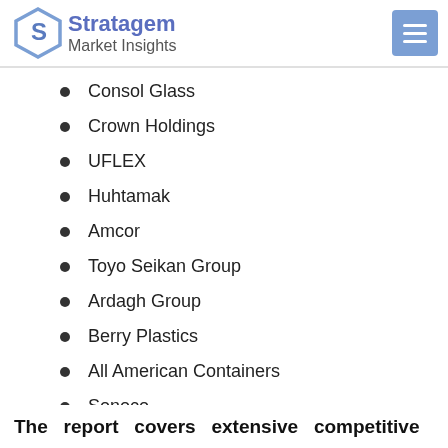Stratagem Market Insights
Consol Glass
Crown Holdings
UFLEX
Huhtamak
Amcor
Toyo Seikan Group
Ardagh Group
Berry Plastics
All American Containers
Sonoco
The report covers extensive competitive